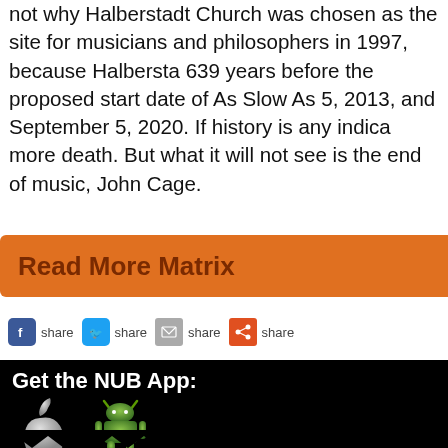not why Halberstadt Church was chosen as the site for musicians and philosophers in 1997, because Halbersta 639 years before the proposed start date of As Slow As 5, 2013, and September 5, 2020. If history is any indica more death. But what it will not see is the end of music, John Cage.
Read More Matrix
share  share  share  share
Get the NUB App:
[Figure (illustration): Apple iOS app store icon (Apple logo) and Android app icon (green Android robot)]